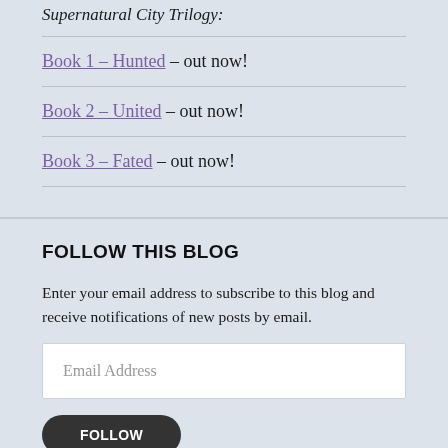Supernatural City Trilogy:
Book 1 – Hunted – out now!
Book 2 – United – out now!
Book 3 – Fated – out now!
FOLLOW THIS BLOG
Enter your email address to subscribe to this blog and receive notifications of new posts by email.
Email Address